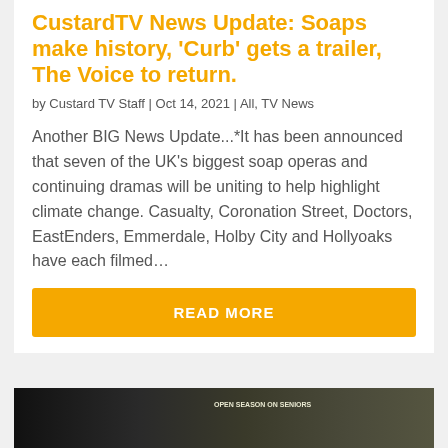CustardTV News Update: Soaps make history, 'Curb' gets a trailer, The Voice to return.
by Custard TV Staff | Oct 14, 2021 | All, TV News
Another BIG News Update...*It has been announced that seven of the UK's biggest soap operas and continuing dramas will be uniting to help highlight climate change. Casualty, Coronation Street, Doctors, EastEnders, Emmerdale, Holby City and Hollyoaks have each filmed...
READ MORE
[Figure (photo): Dark photograph showing silhouettes of people and a sign reading 'OPEN SEASON ON SENIORS' in the background]